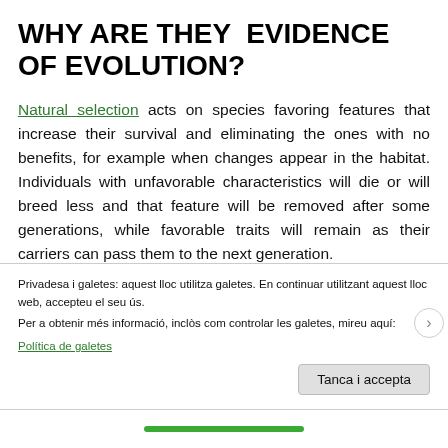WHY ARE THEY EVIDENCE OF EVOLUTION?
Natural selection acts on species favoring features that increase their survival and eliminating the ones with no benefits, for example when changes appear in the habitat. Individuals with unfavorable characteristics will die or will breed less and that feature will be removed after some generations, while favorable traits will remain as their carriers can pass them to the next generation.
Sometimes, there are features, that are neither favorable nor [partially obscured by cookie banner]
Privadesa i galetes: aquest lloc utilitza galetes. En continuar utilitzant aquest lloc web, accepteu el seu ús.
Per a obtenir més informació, inclòs com controlar les galetes, mireu aquí:
Política de galetes
Tanca i accepta